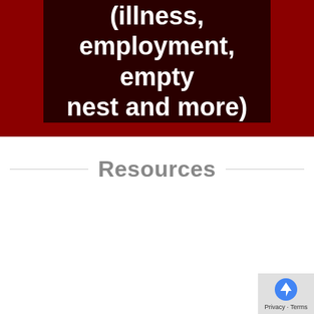(illness, employment, empty nest and more)
Resources
Paperwork   Books   Payment
Please download and complete forms prior to our first meeting.